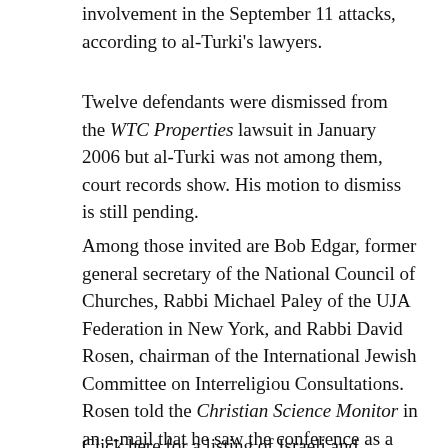involvement in the September 11 attacks, according to al-Turki's lawyers.
Twelve defendants were dismissed from the WTC Properties lawsuit in January 2006 but al-Turki was not among them, court records show. His motion to dismiss is still pending.
Among those invited are Bob Edgar, former general secretary of the National Council of Churches, Rabbi Michael Paley of the UJA Federation in New York, and Rabbi David Rosen, chairman of the International Jewish Committee on Interreligiou Consultations. Rosen told the Christian Science Monitor in an e-mail that he saw the conference as a chance to “break down … stereotypes, suspicion, and bigotry.” He added that he would have liked to see Israeli officials invited, too.
Click here for a listing of Israeli and government leaders attending...